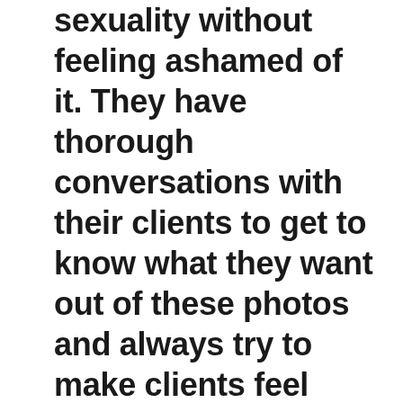sexuality without feeling ashamed of it. They have thorough conversations with their clients to get to know what they want out of these photos and always try to make clients feel comfortable in their studio space. They always push themselves in order to come up with new creative ideas for their shoots, and like to change studio spaces, travel, and see what other photographers in their industry are doing. Incorporating sexuality into